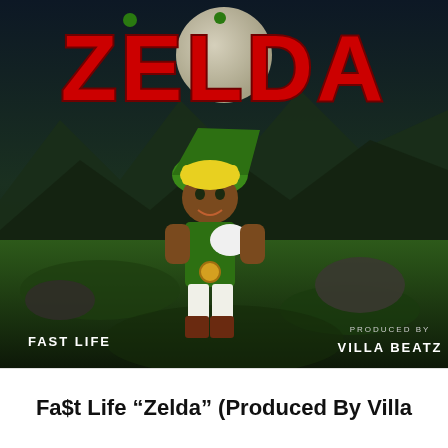[Figure (illustration): Music single cover art for Fa$t Life 'Zelda' produced by Villa Beatz. Features the word ZELDA in large red 3D letters at the top, a cartoon Link character (from Legend of Zelda) depicted with dark skin and wearing the classic green tunic and hat, holding something white, set against a dark fantasy landscape with mountains, greenery, full moon. Bottom left reads 'FAST LIFE' and bottom right reads 'PRODUCED BY / VILLA BEATZ'.]
Fa$t Life “Zelda” (Produced By Villa